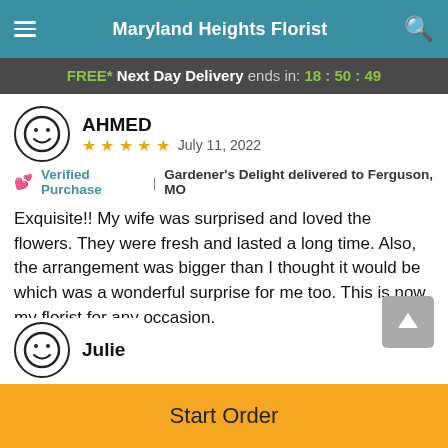Maryland Heights Florist
FREE* Next Day Delivery ends in: 18:50:49
AHMED
★★★★★ July 11, 2022
💗 Verified Purchase | Gardener's Delight delivered to Ferguson, MO
Exquisite!! My wife was surprised and loved the flowers. They were fresh and lasted a long time. Also, the arrangement was bigger than I thought it would be which was a wonderful surprise for me too. This is now my florist for any occasion.
Julie
Start Order